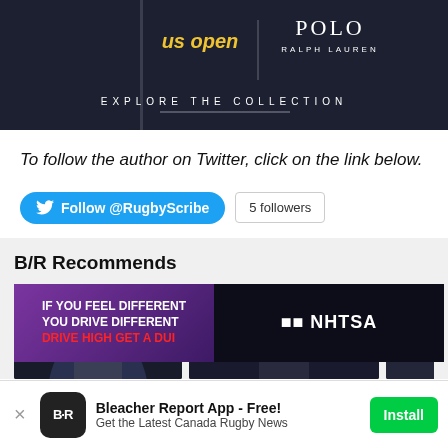[Figure (photo): US Open x Polo Ralph Lauren advertisement banner showing players in dark clothing with text 'us open', 'POLO RALPH LAUREN', and 'EXPLORE THE COLLECTION']
To follow the author on Twitter, click on the link below.
[Figure (other): Twitter follow button showing '@RugbyScribe' and '5 followers' counter button]
B/R Recommends
[Figure (photo): B/R Recommends section showing basketball player photos and NHTSA 'Drive High Get a DUI' advertisement]
[Figure (other): Bleacher Report App install banner with 'Bleacher Report App - Free!' title, 'Get the Latest Canada Rugby News' subtitle, and Install button]